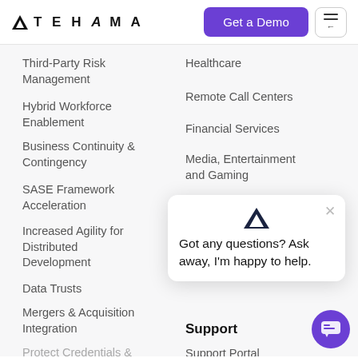[Figure (logo): Tehama logo with triangle mountain icon and text TEHAMA]
Get a Demo
Third-Party Risk Management
Hybrid Workforce Enablement
Business Continuity & Contingency
SASE Framework Acceleration
Increased Agility for Distributed Development
Data Trusts
Mergers & Acquisition Integration
Protect Credentials &
Healthcare
Remote Call Centers
Financial Services
Media, Entertainment and Gaming
Got any questions? Ask away, I'm happy to help.
Support
Support Portal